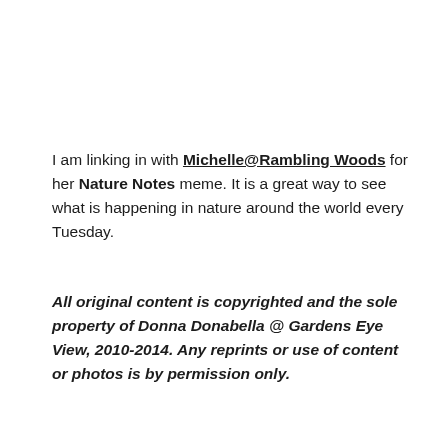I am linking in with Michelle@Rambling Woods for her Nature Notes meme.  It is a great way to see what is happening in nature around the world every Tuesday.
All original content is copyrighted and the sole property of Donna Donabella @ Gardens Eye View, 2010-2014.  Any reprints or use of content or photos is by permission only.